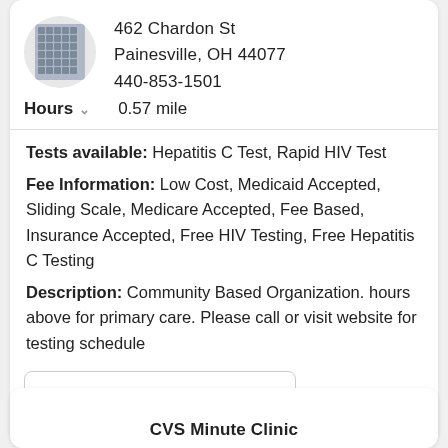462 Chardon St
Painesville, OH 44077
440-853-1501
Hours  0.57 mile
Tests available: Hepatitis C Test, Rapid HIV Test
Fee Information: Low Cost, Medicaid Accepted, Sliding Scale, Medicare Accepted, Fee Based, Insurance Accepted, Free HIV Testing, Free Hepatitis C Testing
Description: Community Based Organization. hours above for primary care. Please call or visit website for testing schedule
CHOOSE LOCATION
CVS Minute Clinic